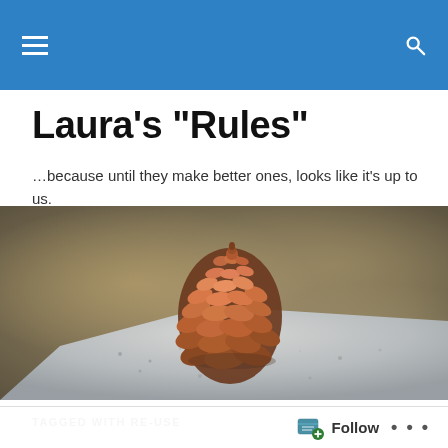Laura's "Rules"
…because until they make better ones, looks like it’s up to us.
[Figure (photo): A pine cone resting on top of a grey granite stone block, with a blurred brownish background.]
TAGGED WITH RE-USE
Sheepish: An Easy Needle Felting Tutorial for a…